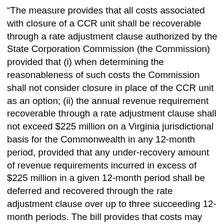“The measure provides that all costs associated with closure of a CCR unit shall be recoverable through a rate adjustment clause authorized by the State Corporation Commission (the Commission) provided that (i) when determining the reasonableness of such costs the Commission shall not consider closure in place of the CCR unit as an option; (ii) the annual revenue requirement recoverable through a rate adjustment clause shall not exceed $225 million on a Virginia jurisdictional basis for the Commonwealth in any 12-month period, provided that any under-recovery amount of revenue requirements incurred in excess of $225 million in a given 12-month period shall be deferred and recovered through the rate adjustment clause over up to three succeeding 12-month periods. The bill provides that costs may begin accruing on July 1, 2019, but no approved rate adjustment clause charges shall be included in customer bills until July 1, 2021; any such costs shall be allocated to all customers of the utility in the Commonwealth as a non-bypassable charge, irrespective of the generation supplier of any such customer; and any such costs that are allocated to the utility’s system customers outside of the Commonwealth that are not actually recovered from such customers shall be included for